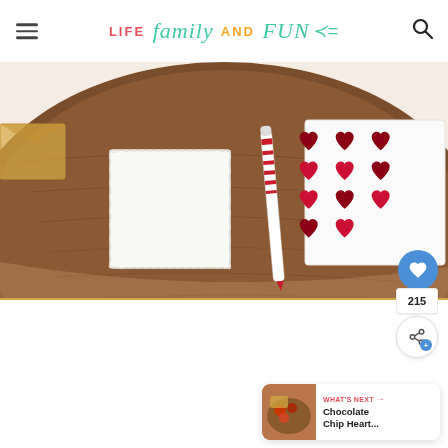LIFE family AND FUN
[Figure (photo): Overhead view of a wooden board/tray with a white square tile, a red and white marker pen, and a sheet of red heart-shaped rhinestone stickers on white paper, on a light background.]
215
WHAT'S NEXT → Chocolate Chip Heart...